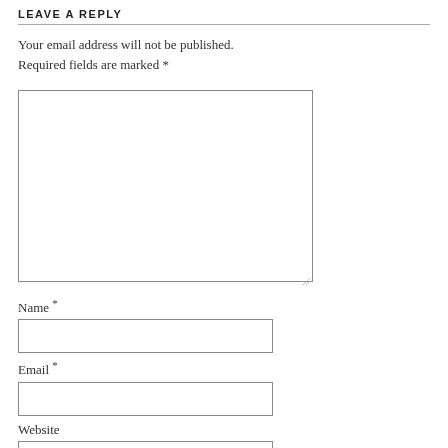LEAVE A REPLY
Your email address will not be published. Required fields are marked *
[Figure (other): Large comment text area input box with resize handle]
Name *
[Figure (other): Name input field box]
Email *
[Figure (other): Email input field box]
Website
[Figure (other): Website input field box (partially visible)]